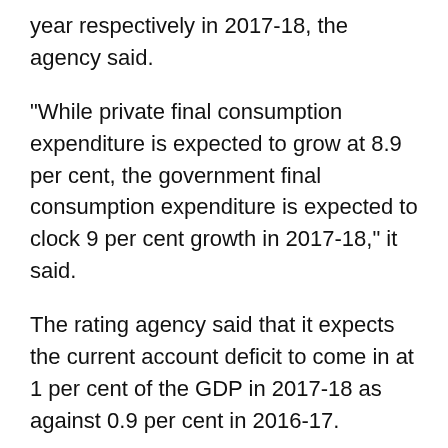year respectively in 2017-18, the agency said.
“While private final consumption expenditure is expected to grow at 8.9 per cent, the government final consumption expenditure is expected to clock 9 per cent growth in 2017-18,” it said.
The rating agency said that it expects the current account deficit to come in at 1 per cent of the GDP in 2017-18 as against 0.9 per cent in 2016-17.
“This will help the rupee trade at an average 69.18/USD in FY18,” it noted.
Observing that while India is likely to face